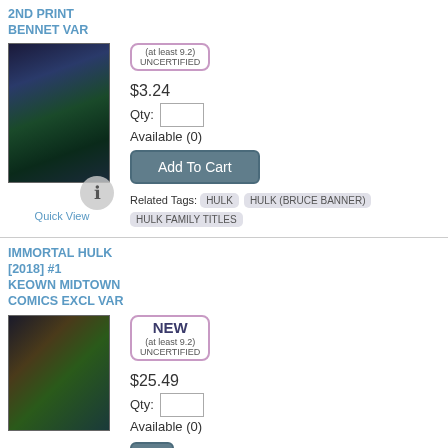2ND PRINT BENNET VAR
[Figure (illustration): Comic book cover for Immortal Hulk 2nd Print Bennet Var, showing dark blue/green tones with Hulk]
Quick View
(at least 9.2) UNCERTIFIED
$3.24
Qty:
Available (0)
Add To Cart
Related Tags: HULK  HULK (BRUCE BANNER)  HULK FAMILY TITLES
IMMORTAL HULK [2018] #1 KEOWN MIDTOWN COMICS EXCL VAR
[Figure (illustration): Comic book cover for Immortal Hulk Keown Midtown Comics Excl Var, showing Hulk in green tones]
NEW (at least 9.2) UNCERTIFIED
$25.49
Qty:
Available (0)